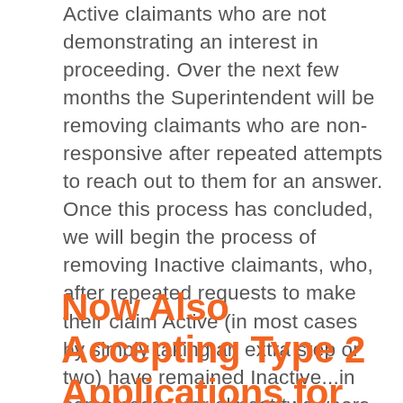Active claimants who are not demonstrating an interest in proceeding. Over the next few months the Superintendent will be removing claimants who are non-responsive after repeated attempts to reach out to them for an answer. Once this process has concluded, we will begin the process of removing Inactive claimants, who, after repeated requests to make their claim Active (in most cases by simply taking an extra step or two) have remained Inactive...in some cases, for almost two years.
Now Also Accepting Type 2 Applications for Pending Claimants